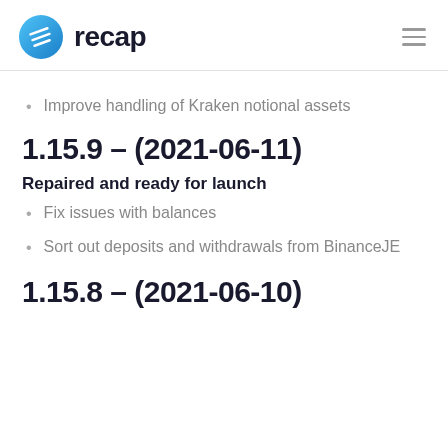recap
Improve handling of Kraken notional assets
1.15.9 – (2021-06-11)
Repaired and ready for launch
Fix issues with balances
Sort out deposits and withdrawals from BinanceJE
1.15.8 – (2021-06-10)